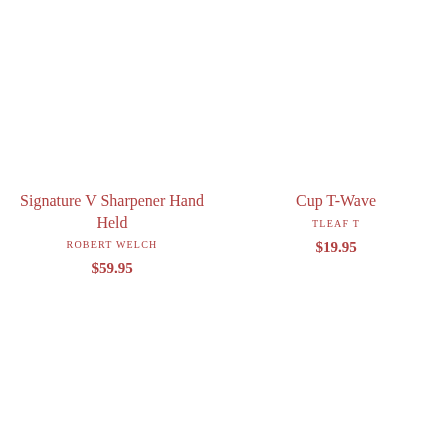Signature V Sharpener Hand Held
ROBERT WELCH
$59.95
Cup T-Wave
TLEAF T
$19.95